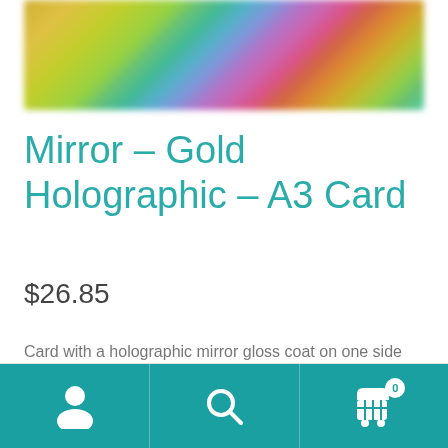[Figure (photo): Holographic gold card product image showing rainbow/iridescent gradient colors — gold, green, teal, purple, pink tones blended across the card surface.]
Mirror – Gold Holographic – A3 Card
$26.85
Card with a holographic mirror gloss coat on one side and matte white on the other.
[Figure (screenshot): Bottom navigation bar with teal background containing three icons: user/person icon, search/magnifying glass icon, and shopping cart icon with badge showing 0.]